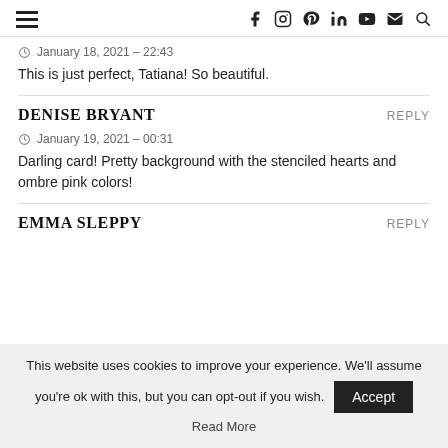≡  f  Instagram  Pinterest  in  YouTube  Mail  Search
January 18, 2021 – 22:43
This is just perfect, Tatiana! So beautiful.
DENISE BRYANT  REPLY
January 19, 2021 – 00:31
Darling card! Pretty background with the stenciled hearts and ombre pink colors!
EMMA SLEPPY  REPLY
This website uses cookies to improve your experience. We'll assume you're ok with this, but you can opt-out if you wish.  Accept  Read More